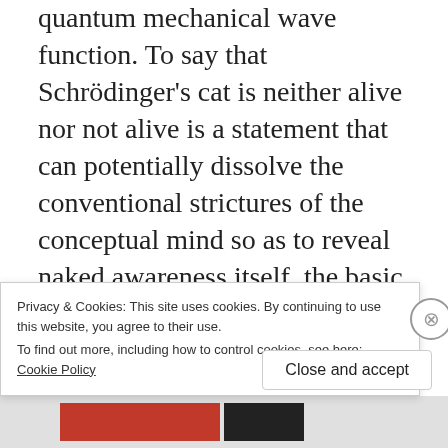quantum mechanical wave function. To say that Schrödinger's cat is neither alive nor not alive is a statement that can potentially dissolve the conventional strictures of the conceptual mind so as to reveal naked awareness itself, the basic essence of unconditioned mind. We are unable to conceptually understand four-valued logic, however, with a mind that has been conditioned to think with two-valued logic. Four-valued logic points to and introduces us to a direct experience of reality beyond the
Privacy & Cookies: This site uses cookies. By continuing to use this website, you agree to their use.
To find out more, including how to control cookies, see here: Cookie Policy